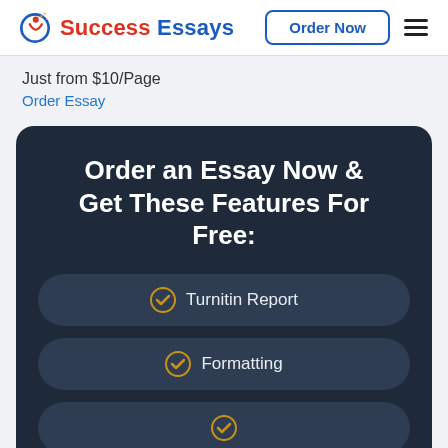Success Essays — Order Now
Just from $10/Page
Order Essay
Order an Essay Now & Get These Features For Free:
Turnitin Report
Formatting